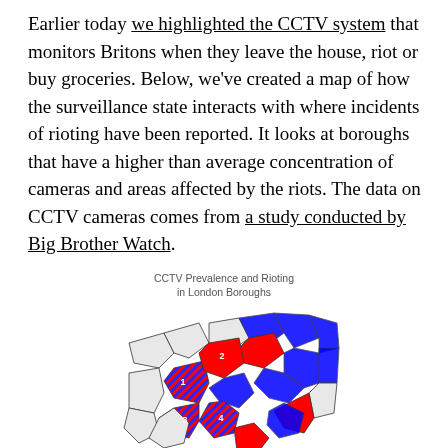Earlier today we highlighted the CCTV system that monitors Britons when they leave the house, riot or buy groceries. Below, we've created a map of how the surveillance state interacts with where incidents of rioting have been reported. It looks at boroughs that have a higher than average concentration of cameras and areas affected by the riots. The data on CCTV cameras comes from a study conducted by Big Brother Watch.
[Figure (map): A choropleth map of London boroughs colour-coded by CCTV prevalence (blue = high concentration) and rioting (red = riot areas), with some boroughs showing both (striped red/blue). Numbers 1-4 label specific boroughs.]